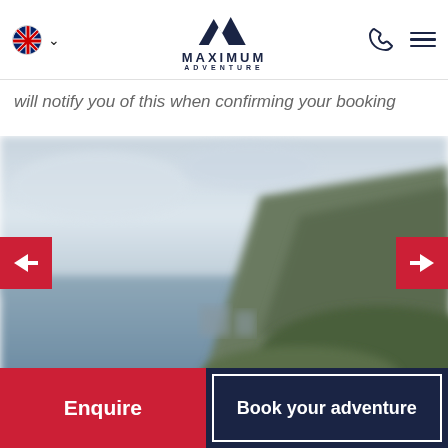Maximum Adventure — navigation header with UK flag, logo, phone icon, menu icon
will notify you of this when confirming your booking
[Figure (photo): Blurred landscape photo showing a loch or coastal scene with mountains and overcast sky, with red left and right navigation arrows overlaid]
Enquire
Book your adventure